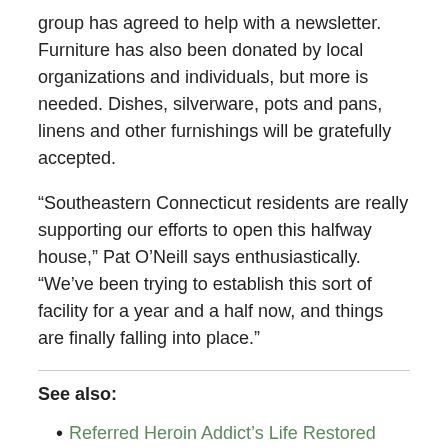group has agreed to help with a newsletter. Furniture has also been donated by local organizations and individuals, but more is needed. Dishes, silverware, pots and pans, linens and other furnishings will be gratefully accepted.
“Southeastern Connecticut residents are really supporting our efforts to open this halfway house,” Pat O’Neill says enthusiastically. “We’ve been trying to establish this sort of facility for a year and a half now, and things are finally falling into place.”
See also:
Referred Heroin Addict’s Life Restored
Reverend Supports Narconon